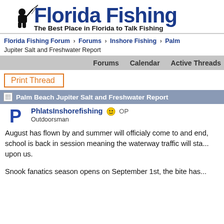[Figure (logo): Florida Fishing logo with fisherman silhouette and text 'Florida Fishing' in large blue bold font, tagline 'The Best Place in Florida to Talk Fishing' in black bold text]
Florida Fishing Forum › Forums › Inshore Fishing › Palm Beach Jupiter Salt and Freshwater Report
Forums   Calendar   Active Threads
Print Thread
Palm Beach Jupiter Salt and Freshwater Report
PhlatsInshorefishing 😊 OP
Outdoorsman
August has flown by and summer will officialy come to and end, school is back in session meaning the waterway traffic will sta... upon us.
Snook fanatics season opens on September 1st, the bite has...